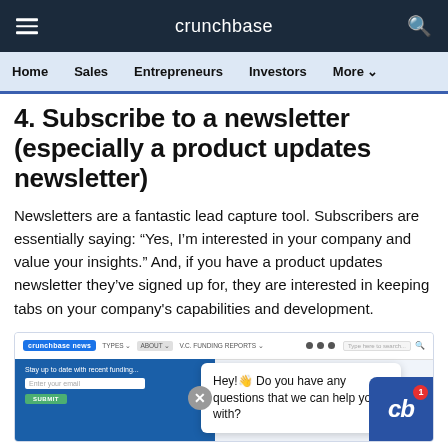crunchbase
Home  Sales  Entrepreneurs  Investors  More
4. Subscribe to a newsletter (especially a product updates newsletter)
Newsletters are a fantastic lead capture tool. Subscribers are essentially saying: “Yes, I’m interested in your company and value your insights.” And, if you have a product updates newsletter they’ve signed up for, they are interested in keeping tabs on your company's capabilities and development.
[Figure (screenshot): Screenshot of Crunchbase News website with a newsletter signup strip and a chat popup that says 'Hey! Do you have any questions that we can help you with?']